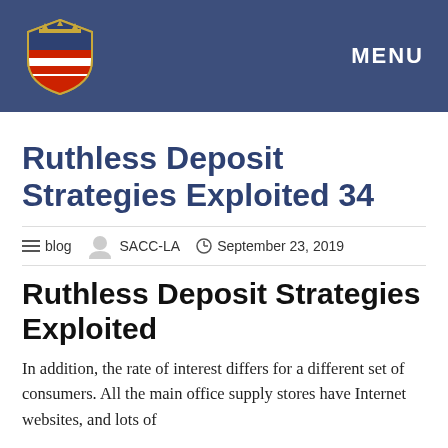MENU
Ruthless Deposit Strategies Exploited 34
blog   SACC-LA   September 23, 2019
Ruthless Deposit Strategies Exploited
In addition, the rate of interest differs for a different set of consumers. All the main office supply stores have Internet websites, and lots of them have free listening of products.